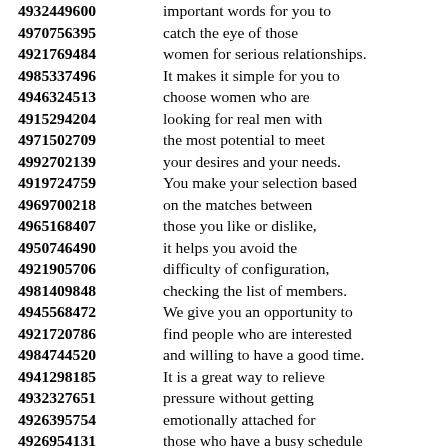4932449600 important words for you to
4970756395 catch the eye of those
4921769484 women for serious relationships.
4985337496 It makes it simple for you to
4946324513 choose women who are
4915294204 looking for real men with
4971502709 the most potential to meet
4992702139 your desires and your needs.
4919724759 You make your selection based
4969700218 on the matches between
4965168407 those you like or dislike,
4950746490 it helps you avoid the
4921905706 difficulty of configuration,
4981409848 checking the list of members.
4945568472 We give you an opportunity to
4921720786 find people who are interested
4984744520 and willing to have a good time.
4941298185 It is a great way to relieve
4932327651 pressure without getting
4926395754 emotionally attached for
4926954131 those who have a busy schedule
4940189514 and are not willing to
4942715447 be in any kind of relationship.
4999355663 To attract more women
4949366363 seeking men for friendship,
4988786310 ...